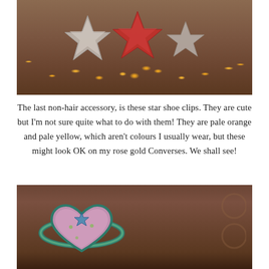[Figure (photo): Photo of glittery star-shaped shoe clips on a wooden surface with warm fairy lights in the background. Stars appear to be silver and red/pink glitter.]
The last non-hair accessory, is these star shoe clips. They are cute but I'm not sure quite what to do with them! They are pale orange and pale yellow, which aren't colours I usually wear, but these might look OK on my rose gold Converses. We shall see!
[Figure (photo): Close-up photo of an embroidered heart-shaped planet patch with teal/turquoise ring around it and star details, placed on a wooden surface with blurred background items.]